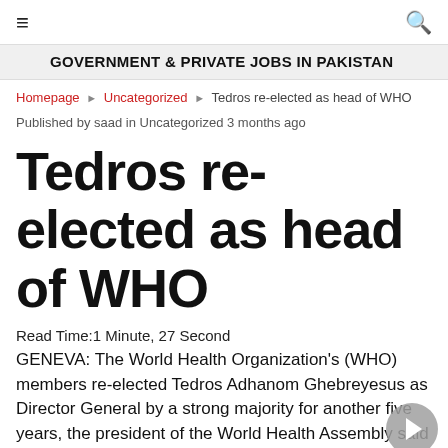≡  🔍
GOVERNMENT & PRIVATE JOBS IN PAKISTAN
Homepage ▶ Uncategorized ▶ Tedros re-elected as head of WHO
Published by saad in Uncategorized 3 months ago
Tedros re-elected as head of WHO
Read Time:1 Minute, 27 Second
GENEVA: The World Health Organization's (WHO) members re-elected Tedros Adhanom Ghebreyesus as Director General by a strong majority for another five years, the president of the World Health Assembly said